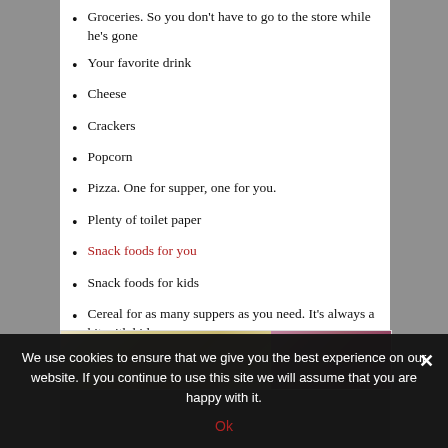Groceries. So you don't have to go to the store while he's gone
Your favorite drink
Cheese
Crackers
Popcorn
Pizza. One for supper, one for you.
Plenty of toilet paper
Snack foods for you
Snack foods for kids
Cereal for as many suppers as you need. It's always a hit with kids.
[Figure (photo): Two food photos side by side: left shows light colored food (possibly popcorn or chips), right shows darker pink/red food item]
We use cookies to ensure that we give you the best experience on our website. If you continue to use this site we will assume that you are happy with it.